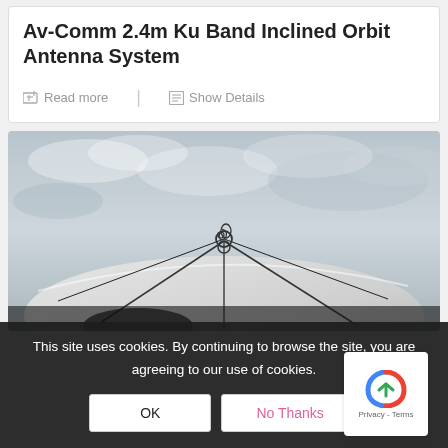Av-Comm 2.4m Ku Band Inclined Orbit Antenna System
Read more | Show Details
[Figure (photo): Photograph of a large satellite dish antenna pointing upward against a cloudy sky, showing the dish reflector and feedhorn assembly with support arms.]
This site uses cookies. By continuing to browse the site, you are agreeing to our use of cookies.
OK   No Thanks